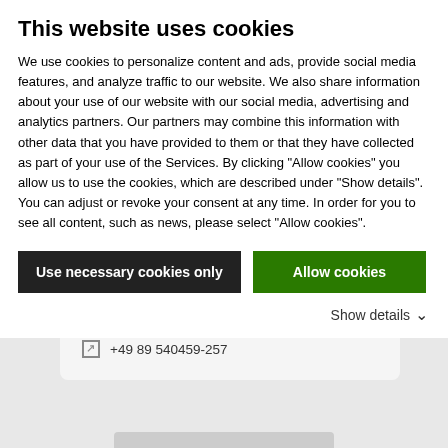This website uses cookies
We use cookies to personalize content and ads, provide social media features, and analyze traffic to our website. We also share information about your use of our website with our social media, advertising and analytics partners. Our partners may combine this information with other data that you have provided to them or that they have collected as part of your use of the Services. By clicking "Allow cookies" you allow us to use the cookies, which are described under "Show details". You can adjust or revoke your consent at any time. In order for you to see all content, such as news, please select "Allow cookies".
Use necessary cookies only
Allow cookies
Show details
Communication Specialist
dgoldstein@nemetschek.com
+49 89 540459-257